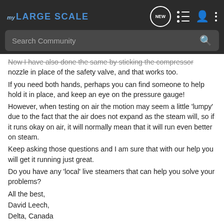MY LARGE SCALE — navigation bar with search
Now I have also done the same by sticking the compressor nozzle in place of the safety valve, and that works too.
If you need both hands, perhaps you can find someone to help hold it in place, and keep an eye on the pressure gauge!
However, when testing on air the motion may seem a little 'lumpy' due to the fact that the air does not expand as the steam will, so if it runs okay on air, it will normally mean that it will run even better on steam.
Keep asking those questions and I am sure that with our help you will get it running just great.
Do you have any 'local' live steamers that can help you solve your problems?
All the best,
David Leech,
Delta, Canada